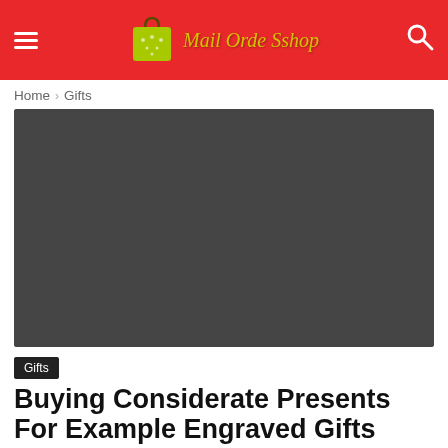Mail Orde Sshop
Home › Gifts
[Figure (photo): Dark gray hero image placeholder for article about engraved gifts]
Gifts
Buying Considerate Presents For Example Engraved Gifts